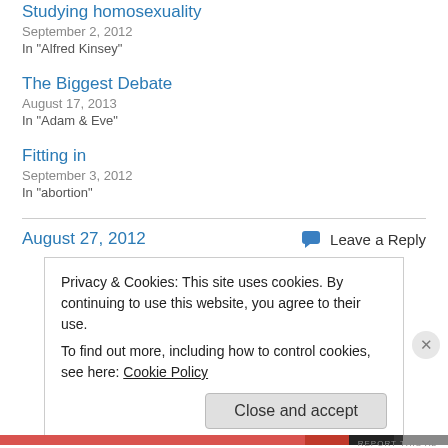Studying homosexuality
September 2, 2012
In "Alfred Kinsey"
The Biggest Debate
August 17, 2013
In "Adam & Eve"
Fitting in
September 3, 2012
In "abortion"
August 27, 2012
Leave a Reply
Privacy & Cookies: This site uses cookies. By continuing to use this website, you agree to their use.
To find out more, including how to control cookies, see here: Cookie Policy
Close and accept